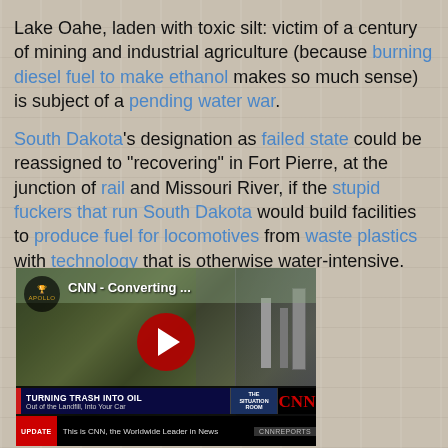Lake Oahe, laden with toxic silt: victim of a century of mining and industrial agriculture (because burning diesel fuel to make ethanol makes so much sense) is subject of a pending water war.
South Dakota's designation as failed state could be reassigned to "recovering" in Fort Pierre, at the junction of rail and Missouri River, if the stupid fuckers that run South Dakota would build facilities to produce fuel for locomotives from waste plastics with technology that is otherwise water-intensive.
[Figure (screenshot): YouTube video thumbnail showing CNN segment titled 'CNN - Converting ...' with Apollo logo, two people standing outdoors near industrial equipment, red YouTube play button in center, lower third graphic reading 'TURNING TRASH INTO OIL / Out of the Landfill, Into Your Car' with CNN Situation Room branding, and ticker 'This is CNN, the Worldwide Leader in News']